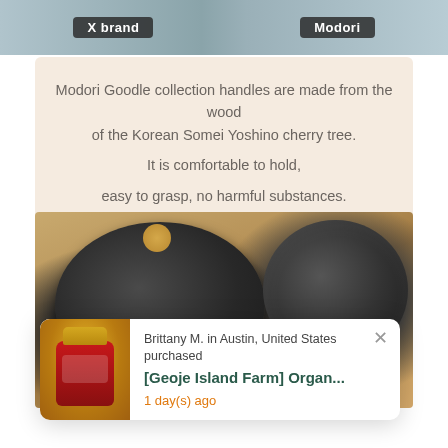[Figure (photo): Top banner showing two cookware items side by side with labels 'X brand' and 'Modori']
Modori Goodle collection handles are made from the wood of the Korean Somei Yoshino cherry tree.

It is comfortable to hold,

easy to grasp, no harmful substances.
[Figure (photo): Black cast iron pan lid and wok on a wooden surface with a dark wood handle visible]
wood handle
Brittany M. in Austin, United States purchased
[Geoje Island Farm] Organ...
1 day(s) ago